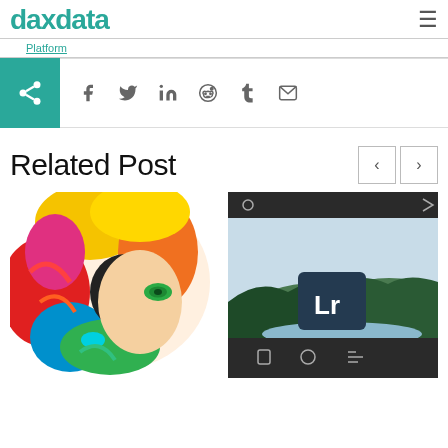daxdata
Platform
[Figure (screenshot): Social share bar with share icon button (teal) and social icons: Facebook, Twitter, LinkedIn, Reddit, Tumblr, Email]
Related Post
[Figure (photo): Colorful parrot with rainbow feathers overlaid with woman's face with green eye and colorful makeup]
[Figure (screenshot): Adobe Lightroom interface screenshot showing mountain landscape with lake and LR logo icon]